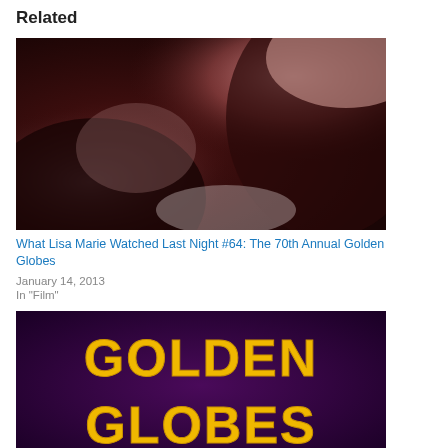Related
[Figure (photo): Close-up blurry photo with dark reddish-brown and pink tones]
What Lisa Marie Watched Last Night #64: The 70th Annual Golden Globes
January 14, 2013
In "Film"
[Figure (photo): Golden Globes logo text in gold/yellow on dark purple background]